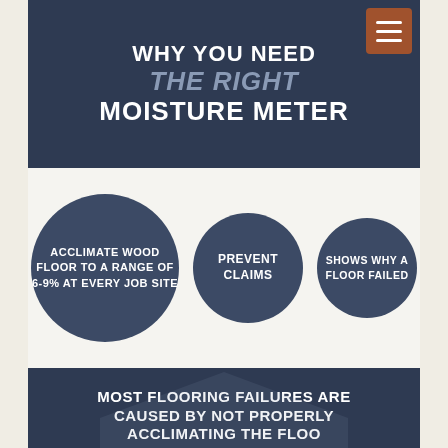WHY YOU NEED THE RIGHT MOISTURE METER
[Figure (infographic): Three dark blue circles with white text: largest circle reads 'ACCLIMATE WOOD FLOOR TO A RANGE OF 6-9% AT EVERY JOB SITE', medium circle reads 'PREVENT CLAIMS', smaller circle reads 'SHOWS WHY A FLOOR FAILED']
MOST FLOORING FAILURES ARE CAUSED BY NOT PROPERLY ACCLIMATING THE FLOOR